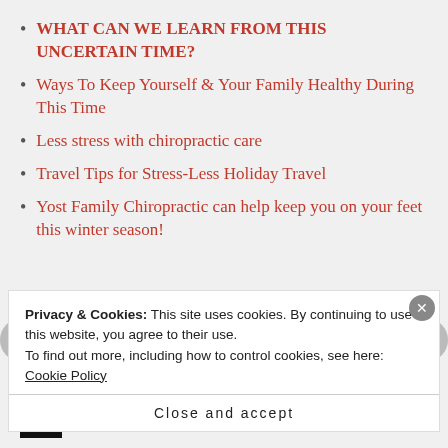WHAT CAN WE LEARN FROM THIS UNCERTAIN TIME?
Ways To Keep Yourself & Your Family Healthy During This Time
Less stress with chiropractic care
Travel Tips for Stress-Less Holiday Travel
Yost Family Chiropractic can help keep you on your feet this winter season!
Recent Comments
Dr. Nicole & Dr. J... on What does a chiropractor do?
Privacy & Cookies: This site uses cookies. By continuing to use this website, you agree to their use.
To find out more, including how to control cookies, see here: Cookie Policy
Close and accept